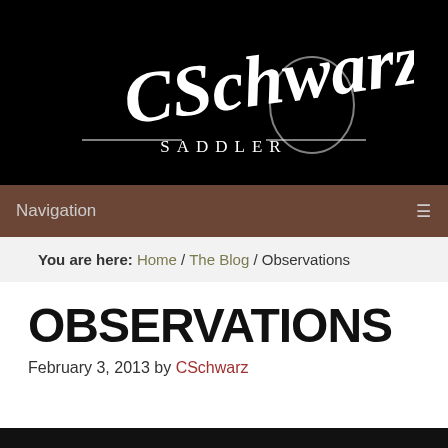[Figure (logo): CSchwarz Saddler cursive signature logo in white on black background with 'SADDLER' text below in spaced serif capitals]
Navigation
You are here: Home / The Blog / Observations
OBSERVATIONS
February 3, 2013 by CSchwarz